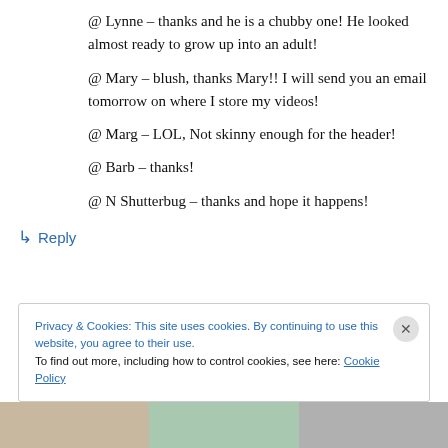@ Lynne – thanks and he is a chubby one! He looked almost ready to grow up into an adult!
@ Mary – blush, thanks Mary!! I will send you an email tomorrow on where I store my videos!
@ Marg – LOL, Not skinny enough for the header!
@ Barb – thanks!
@ N Shutterbug – thanks and hope it happens!
↳ Reply
Privacy & Cookies: This site uses cookies. By continuing to use this website, you agree to their use.
To find out more, including how to control cookies, see here: Cookie Policy
Close and accept